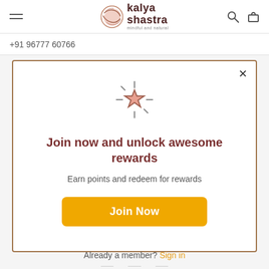Kalya Shastra — navigation bar with hamburger menu, logo, search and cart icons
+91 96777 60766
[Figure (illustration): Sparkle star icon — a pink/salmon colored star with radiating lines around it]
Join now and unlock awesome rewards
Earn points and redeem for rewards
Join Now
Already a member? Sign in